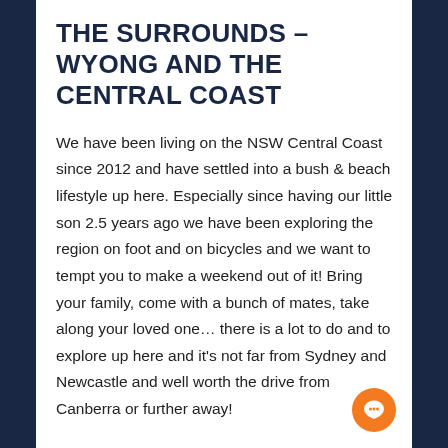THE SURROUNDS – WYONG AND THE CENTRAL COAST
We have been living on the NSW Central Coast since 2012 and have settled into a bush & beach lifestyle up here. Especially since having our little son 2.5 years ago we have been exploring the region on foot and on bicycles and we want to tempt you to make a weekend out of it! Bring your family, come with a bunch of mates, take along your loved one… there is a lot to do and to explore up here and it's not far from Sydney and Newcastle and well worth the drive from Canberra or further away!
Hey, did you know it's whale watching season? – We are sharing our favourite spots and more activities on our